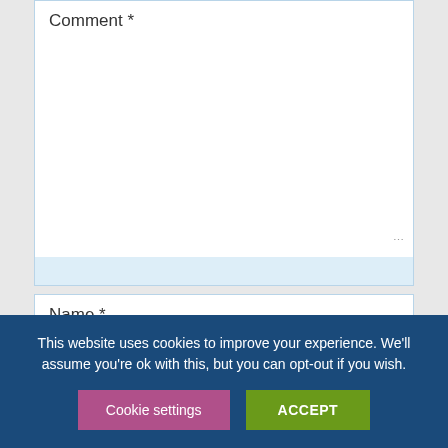Comment *
Name *
Email *
This website uses cookies to improve your experience. We'll assume you're ok with this, but you can opt-out if you wish.
Cookie settings
ACCEPT